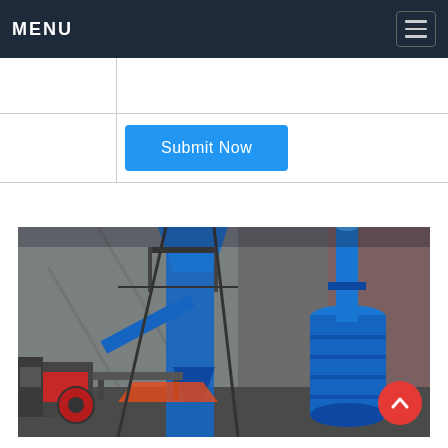MENU
[Figure (screenshot): Web form with a text input field and a blue Submit Now button on a white background with grid-style layout]
[Figure (photo): Industrial factory interior showing large blue dust collector and mill/grinder machinery with conveyor and hopper structures inside a warehouse]